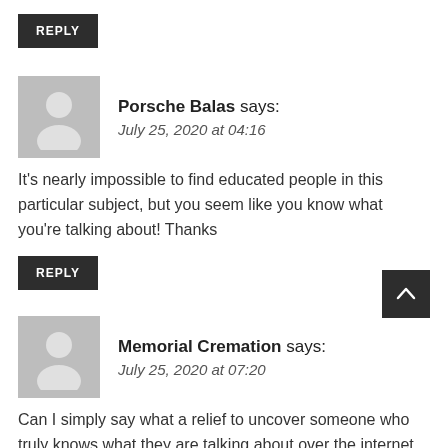REPLY
Porsche Balas says:
July 25, 2020 at 04:16
It's nearly impossible to find educated people in this particular subject, but you seem like you know what you're talking about! Thanks
REPLY
Memorial Cremation says:
July 25, 2020 at 07:20
Can I simply say what a relief to uncover someone who truly knows what they are talking about over the internet. You certainly understand how to bring an issue to light and make